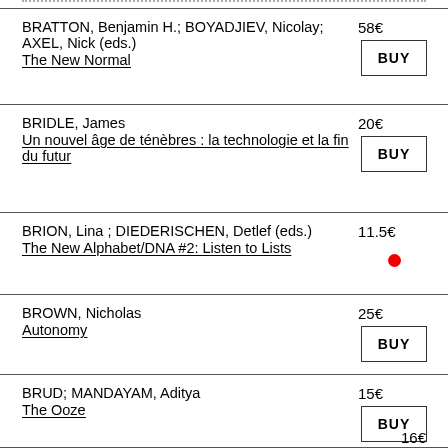BRATTON, Benjamin H.; BOYADJIEV, Nicolay; AXEL, Nick (eds.) — The New Normal — 58€
BRIDLE, James — Un nouvel âge de ténèbres : la technologie et la fin du futur — 20€
BRION, Lina ; DIEDERISCHEN, Detlef (eds.) — The New Alphabet/DNA #2: Listen to Lists — 11.5€
BROWN, Nicholas — Autonomy — 25€
BRUD; MANDAYAM, Aditya — The Ooze — 15€
16€